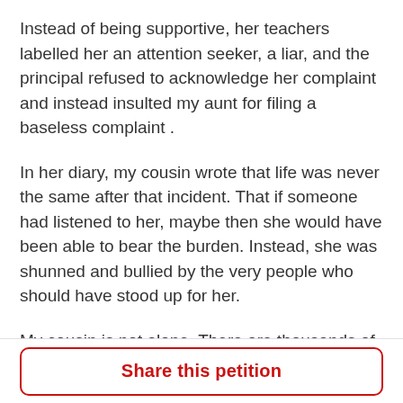Instead of being supportive, her teachers labelled her an attention seeker, a liar, and the principal refused to acknowledge her complaint and instead insulted my aunt for filing a baseless complaint .
In her diary, my cousin wrote that life was never the same after that incident. That if someone had listened to her, maybe then she would have been able to bear the burden. Instead, she was shunned and bullied by the very people who should have stood up for her.
My cousin is not alone. There are thousands of young women just like her who face assault and harassment and have no one to turn to. They fear being shamed and ostracized – they fear being blamed for something they never did or wanted. Most teachers
Share this petition